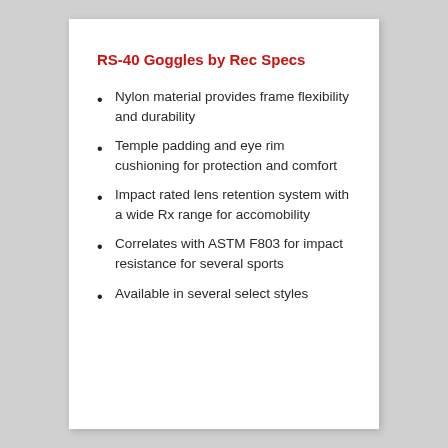RS-40 Goggles by Rec Specs
Nylon material provides frame flexibility and durability
Temple padding and eye rim cushioning for protection and comfort
Impact rated lens retention system with a wide Rx range for accomobility
Correlates with ASTM F803 for impact resistance for several sports
Available in several select styles